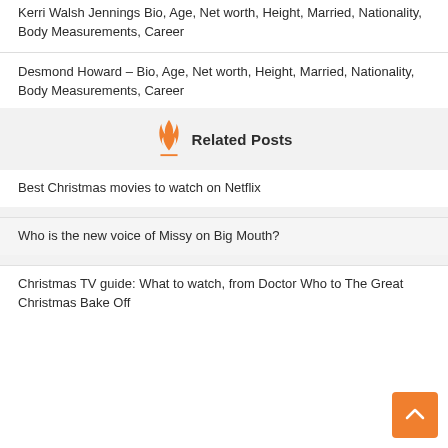Kerri Walsh Jennings Bio, Age, Net worth, Height, Married, Nationality, Body Measurements, Career
Desmond Howard – Bio, Age, Net worth, Height, Married, Nationality, Body Measurements, Career
Related Posts
Best Christmas movies to watch on Netflix
Who is the new voice of Missy on Big Mouth?
Christmas TV guide: What to watch, from Doctor Who to The Great Christmas Bake Off